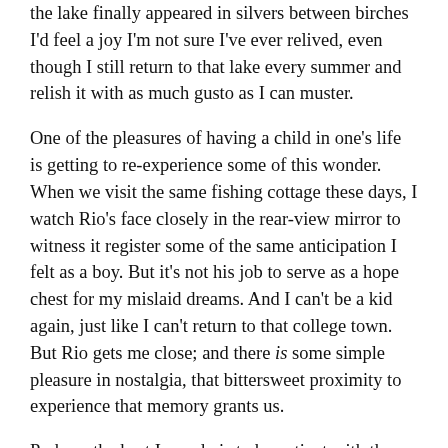the lake finally appeared in silvers between birches I'd feel a joy I'm not sure I've ever relived, even though I still return to that lake every summer and relish it with as much gusto as I can muster.
One of the pleasures of having a child in one's life is getting to re-experience some of this wonder. When we visit the same fishing cottage these days, I watch Rio's face closely in the rear-view mirror to witness it register some of the same anticipation I felt as a boy. But it's not his job to serve as a hope chest for my mislaid dreams. And I can't be a kid again, just like I can't return to that college town. But Rio gets me close; and there is some simple pleasure in nostalgia, that bittersweet proximity to experience that memory grants us.
Perhaps the best I can do is to be patient with the pace of beauty; to not fret that the spot at the window may only come to me now and again. And to not curse the ephemeral nature of joy but rather to say thank you for even experiencing it. Otherwise I'm relegated to a life hunting shadows...